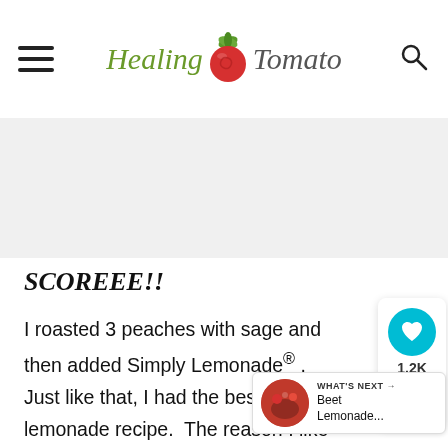Healing Tomato
[Figure (other): Advertisement banner area (gray placeholder)]
SCOREEE!!
I roasted 3 peaches with sage and then added Simply Lemonade® . Just like that, I had the best lemonade recipe. The reason I like this specific lemonade is because it is made with all-natural ingredients and no added preservatives. That is always music to my
[Figure (other): Social share widget with heart button showing 1.2K count and share icon]
[Figure (other): What's Next widget showing thumbnail and text: Beet Lemonade...]